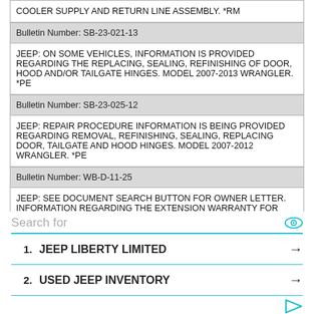COOLER SUPPLY AND RETURN LINE ASSEMBLY. *RM
Bulletin Number: SB-23-021-13
JEEP: ON SOME VEHICLES, INFORMATION IS PROVIDED REGARDING THE REPLACING, SEALING, REFINISHING OF DOOR, HOOD AND/OR TAILGATE HINGES. MODEL 2007-2013 WRANGLER. *PE
Bulletin Number: SB-23-025-12
JEEP: REPAIR PROCEDURE INFORMATION IS BEING PROVIDED REGARDING REMOVAL, REFINISHING, SEALING, REPLACING DOOR, TAILGATE AND HOOD HINGES. MODEL 2007-2012 WRANGLER. *PE
Bulletin Number: WB-D-11-25
JEEP: SEE DOCUMENT SEARCH BUTTON FOR OWNER LETTER. INFORMATION REGARDING THE EXTENSION WARRANTY FOR DIAGNOSIS AND REPLACEMENT OF TRANSMISSION OIL COOLER LINES. *PE
2009 JEEP WRANGLER 2-DR 4X4
Bulletin Number: 9002519
82212076, 82203694 - Fabric Cleaner This "fabric cleaner" is not intended for sale in California, the otc states (Connecticut, Delaware, Massachusetts, Maine,
Search for
1. JEEP LIBERTY LIMITED
2. USED JEEP INVENTORY